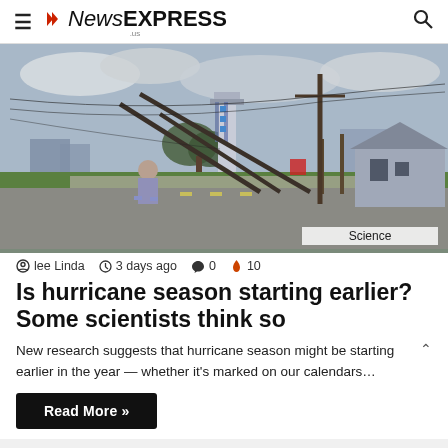NewsEXPRESS
[Figure (photo): A woman stands in the street looking at downed utility poles and power lines after a hurricane, with a control tower visible in the background against a cloudy sky. A residential neighborhood is visible on the right.]
lee Linda  3 days ago  0  10
Is hurricane season starting earlier? Some scientists think so
New research suggests that hurricane season might be starting earlier in the year — whether it's marked on our calendars…
Read More »